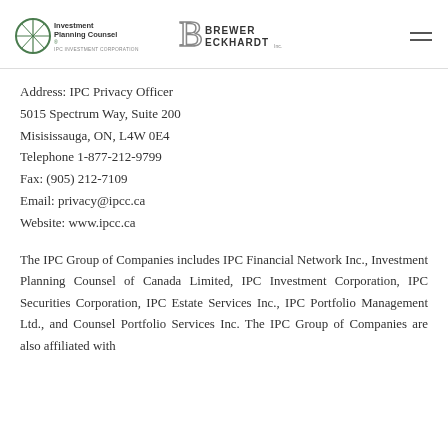Investment Planning Counsel / IPC Investment Corporation | Brewer Eckhardt
Address: IPC Privacy Officer
5015 Spectrum Way, Suite 200
Misisissauga, ON, L4W 0E4
Telephone 1-877-212-9799
Fax: (905) 212-7109
Email: privacy@ipcc.ca
Website: www.ipcc.ca
The IPC Group of Companies includes IPC Financial Network Inc., Investment Planning Counsel of Canada Limited, IPC Investment Corporation, IPC Securities Corporation, IPC Estate Services Inc., IPC Portfolio Management Ltd., and Counsel Portfolio Services Inc. The IPC Group of Companies are also affiliated with…